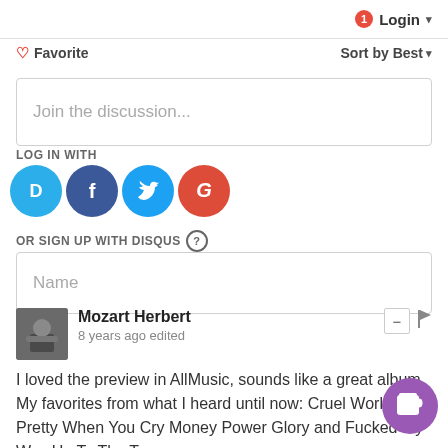1  Login ▾
♡  Favorite      Sort by Best ▾
Join the discussion...
LOG IN WITH
[Figure (logo): Social login icons: Disqus (D), Facebook (f), Twitter bird, Google (G)]
OR SIGN UP WITH DISQUS ?
Name
Mozart Herbert
8 years ago edited
I loved the preview in AllMusic, sounds like a great album. My favorites from what I heard until now: Cruel World, Pretty When You Cry Money Power Glory and Fucked My Way Up To The Top.